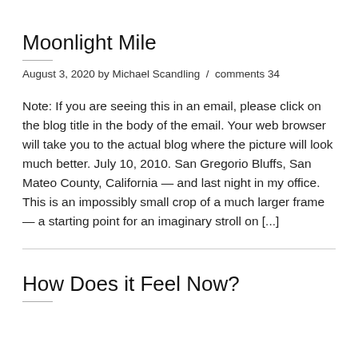Moonlight Mile
August 3, 2020 by Michael Scandling  /  comments 34
Note: If you are seeing this in an email, please click on the blog title in the body of the email. Your web browser will take you to the actual blog where the picture will look much better. July 10, 2010. San Gregorio Bluffs, San Mateo County, California — and last night in my office. This is an impossibly small crop of a much larger frame — a starting point for an imaginary stroll on [...]
How Does it Feel Now?